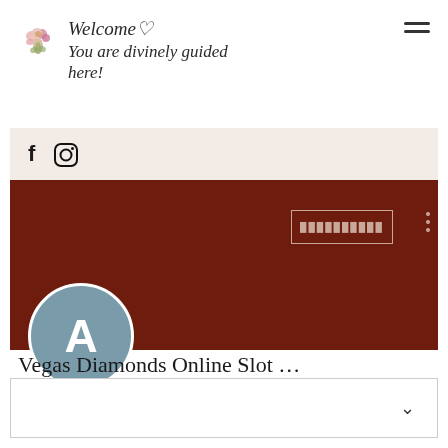Welcome♡
You are divinely guided here!
[Figure (illustration): Floral bouquet icon in the top-left of the navigation header]
[Figure (infographic): Social media navigation bar with Facebook (f) and Instagram icons on a light beige background]
[Figure (infographic): Dark brown/maroon profile banner with a follow button and three-dot menu, overlaid with a teal avatar circle containing the letter A]
Vegas Diamonds Online Slot …
0 ██████ • 0 ██████
[Figure (infographic): Expandable content box with a chevron/down arrow on the right side]